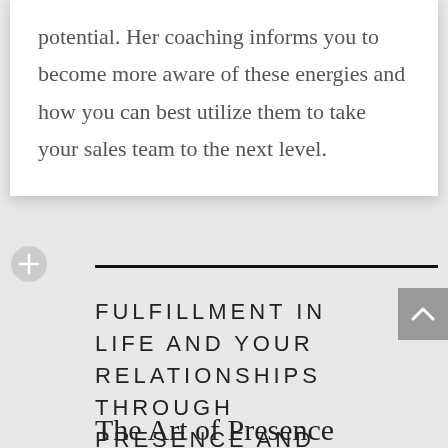potential. Her coaching informs you to become more aware of these energies and how you can best utilize them to take your sales team to the next level.
FULFILLMENT IN LIFE AND YOUR RELATIONSHIPS THROUGH PRESENCE AND LISTENING
The Art of Presence